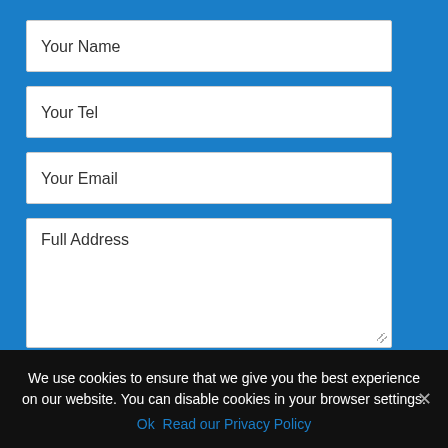Your Name
Your Tel
Your Email
Full Address
Your Message
We use cookies to ensure that we give you the best experience on our website. You can disable cookies in your browser settings.
Ok   Read our Privacy Policy